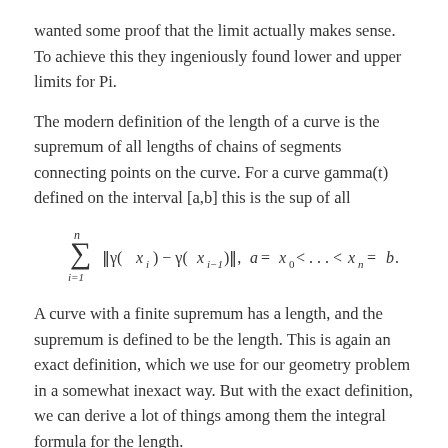wanted some proof that the limit actually makes sense. To achieve this they ingeniously found lower and upper limits for Pi.
The modern definition of the length of a curve is the supremum of all lengths of chains of segments connecting points on the curve. For a curve gamma(t) defined on the interval [a,b] this is the sup of all
A curve with a finite supremum has a length, and the supremum is defined to be the length. This is again an exact definition, which we use for our geometry problem in a somewhat inexact way. But with the exact definition, we can derive a lot of things among them the integral formula for the length.